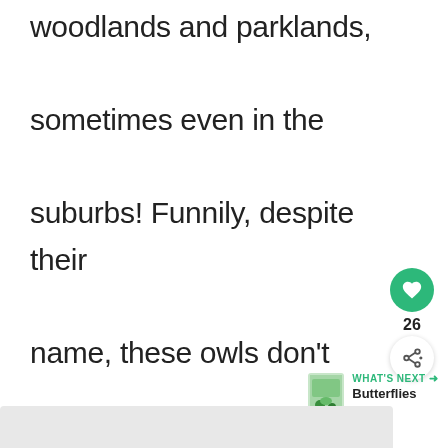woodlands and parklands, sometimes even in the suburbs! Funnily, despite their name, these owls don't actually screech! Instead, they make trembling and purring sounds.
[Figure (other): Green circular heart/like button with heart icon, showing count 26, and a share button below it]
WHAT'S NEXT → Butterflies Facts